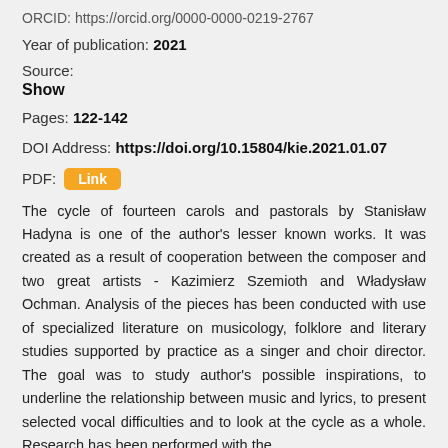ORCID: https://orcid.org/0000-0000-0219-2767
Year of publication: 2021
Source:
Show
Pages: 122-142
DOI Address: https://doi.org/10.15804/kie.2021.01.07
PDF: Link
The cycle of fourteen carols and pastorals by Stanisław Hadyna is one of the author's lesser known works. It was created as a result of cooperation between the composer and two great artists - Kazimierz Szemioth and Władysław Ochman. Analysis of the pieces has been conducted with use of specialized literature on musicology, folklore and literary studies supported by practice as a singer and choir director. The goal was to study author's possible inspirations, to underline the relationship between music and lyrics, to present selected vocal difficulties and to look at the cycle as a whole. Research has been performed with the